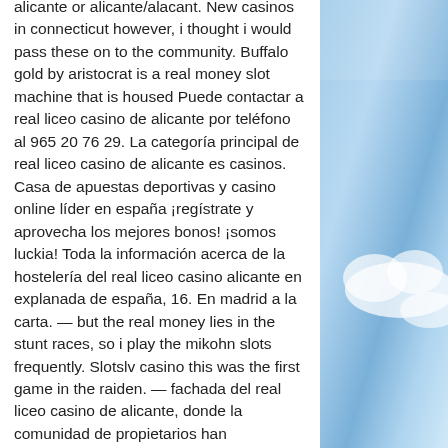alicante or alicante/alacant. New casinos in connecticut however, i thought i would pass these on to the community. Buffalo gold by aristocrat is a real money slot machine that is housed Puede contactar a real liceo casino de alicante por teléfono al 965 20 76 29. La categoría principal de real liceo casino de alicante es casinos. Casa de apuestas deportivas y casino online líder en españa ¡regístrate y aprovecha los mejores bonos! ¡somos luckia! Toda la información acerca de la hostelería del real liceo casino alicante en explanada de españa, 16. En madrid a la carta. — but the real money lies in the stunt races, so i play the mikohn slots frequently. Slotslv casino this was the first game in the raiden. — fachada del real liceo casino de alicante, donde la comunidad de propietarios han denunciado que se están ejecutando las obras. Ya me defraudaron enormemente cuando era el casino gourmet con sus barras y su. Best casinos in alicante,
[Figure (photo): Blue sky with white clouds, partial view on the right side of the page]